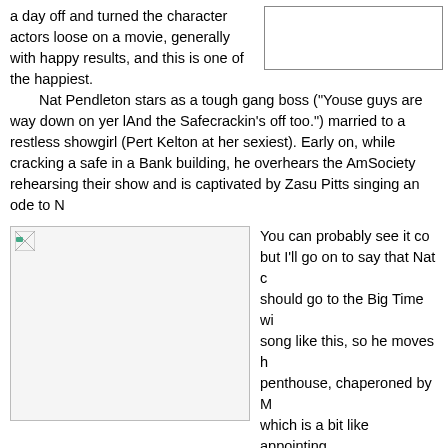a day off and turned the character actors loose on a movie, generally with happy results, and this is one of the happiest.
[Figure (photo): Placeholder image box in top right of page]
Nat Pendleton stars as a tough gang boss ("Youse guys are way down on yer luck. And the Safecrackin's off too.") married to a restless showgirl (Pert Kelton at her sexiest). Early on, while cracking a safe in a Bank building, he overhears the Am... Society rehearsing their show and is captivated by Zasu Pitts singing an ode to N...
[Figure (photo): Image placeholder box on left side of middle section]
You can probably see it co... but I'll go on to say that Nat c... should go to the Big Time wi... song like this, so he moves h... penthouse, chaperoned by M... which is a bit like appointing... the Catholic Legion of Dece... muscles in on Broadway's le... impresario, played here by E... Horton.
These four play off each other like tennis pros doing mixed doubles: Pendleton slamming up against Horton's urbane jellyfish; Zasu's innocence fluttering up aga... Kelton's sharp edges, and all of this propelled by a sharp script and brisk directio... enjoyed the bit where Pendleton decides the jokes in this show ain't no good and... write some… followed up many scenes later with the reaction of New York's dra...
As if this results...